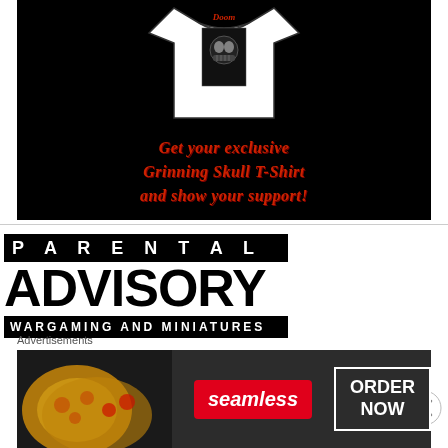[Figure (illustration): Black background advertisement showing a white T-shirt with a skull/Doom graphic design, and gothic red text reading 'Get your exclusive Grinning Skull T-Shirt and show your support!']
[Figure (logo): Parental Advisory style block graphic with black boxes containing 'PARENTAL' in white letters, large black 'ADVISORY' text, and 'WARGAMING AND MINIATURES' in white on black banner]
Advertisements
[Figure (photo): Seamless food delivery advertisement showing pizza slices on dark background with red Seamless logo badge and 'ORDER NOW' button in white border]